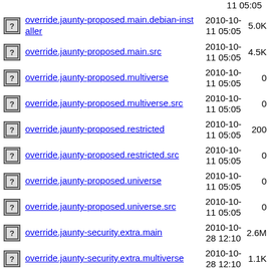override.jaunty-proposed.main.debian-installer  2010-10-11 05:05  5.0K
override.jaunty-proposed.main.src  2010-10-11 05:05  4.5K
override.jaunty-proposed.multiverse  2010-10-11 05:05  0
override.jaunty-proposed.multiverse.src  2010-10-11 05:05  0
override.jaunty-proposed.restricted  2010-10-11 05:05  200
override.jaunty-proposed.restricted.src  2010-10-11 05:05  0
override.jaunty-proposed.universe  2010-10-11 05:05  0
override.jaunty-proposed.universe.src  2010-10-11 05:05  0
override.jaunty-security.extra.main  2010-10-28 12:10  2.6M
override.jaunty-security.extra.multiverse  2010-10-28 12:10  1.1K
override.jaunty-security.extra.restricted  2010-10-28 12:10  2.5M